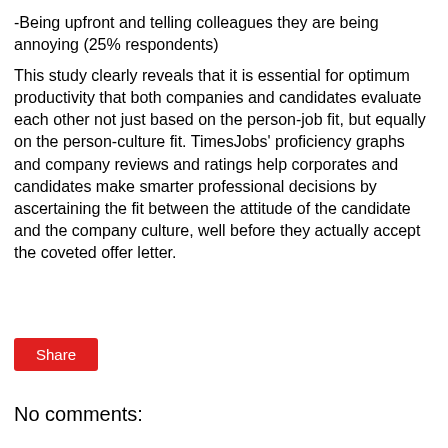-Being upfront and telling colleagues they are being annoying (25% respondents)
This study clearly reveals that it is essential for optimum productivity that both companies and candidates evaluate each other not just based on the person-job fit, but equally on the person-culture fit. TimesJobs' proficiency graphs and company reviews and ratings help corporates and candidates make smarter professional decisions by ascertaining the fit between the attitude of the candidate and the company culture, well before they actually accept the coveted offer letter.
Share
No comments: